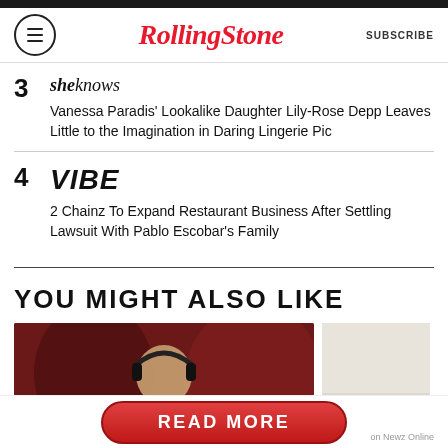RollingStone — SUBSCRIBE
3  sheknows — Vanessa Paradis' Lookalike Daughter Lily-Rose Depp Leaves Little to the Imagination in Daring Lingerie Pic
4  VIBE — 2 Chainz To Expand Restaurant Business After Settling Lawsuit With Pablo Escobar's Family
YOU MIGHT ALSO LIKE
[Figure (photo): Person wearing headphones, seated in front of dark red curtain background; thumbnail image to the right partially visible]
READ MORE
on Newz Online